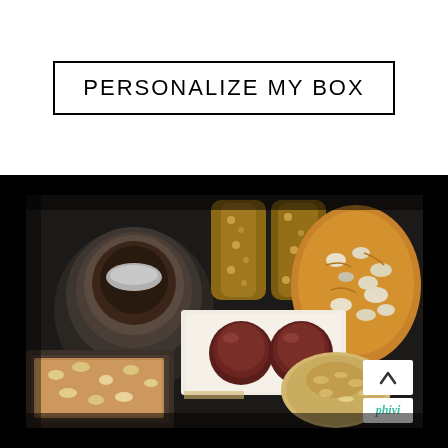PERSONALIZE MY BOX
[Figure (photo): Overhead view of a bakery/food box containing various baked goods: a glass jar with chocolate spread, biscotti/nut bars, a large cookie with white chocolate chips, chocolate cake pops or truffles on white paper, a nut/caramel bar in a container, and a coconut macaroon. A brand badge reading 'phivi' is visible in the bottom right corner.]